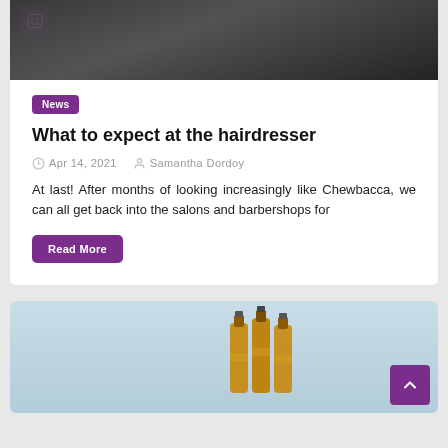[Figure (photo): Top portion of a dark photo showing someone holding clippers near hair, with a purple camera icon badge in top-left corner]
News
What to expect at the hairdresser
Apr 14, 2021   Samantha Dordoy
At last! After months of looking increasingly like Chewbacca, we can all get back into the salons and barbershops for
Read More
[Figure (photo): Bottom card showing beer bottles clinking against a light blue sky background, with a purple back-to-top arrow button in the bottom right]